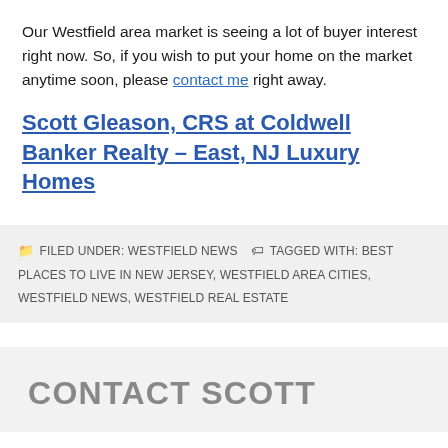Our Westfield area market is seeing a lot of buyer interest right now. So, if you wish to put your home on the market anytime soon, please contact me right away.
Scott Gleason, CRS at Coldwell Banker Realty – East, NJ Luxury Homes
FILED UNDER: WESTFIELD NEWS   TAGGED WITH: BEST PLACES TO LIVE IN NEW JERSEY, WESTFIELD AREA CITIES, WESTFIELD NEWS, WESTFIELD REAL ESTATE
CONTACT SCOTT